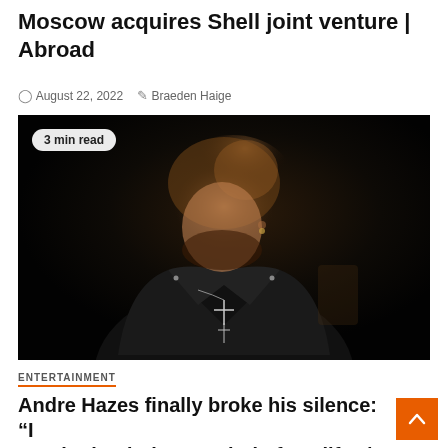Moscow acquires Shell joint venture | Abroad
August 22, 2022   Braeden Haige
[Figure (photo): Young man in a black leather jacket with cross necklaces, photographed in dark moody lighting, looking downward]
3 min read
ENTERTAINMENT
Andre Hazes finally broke his silence: “I was in the darkest period of my life” | showbiz